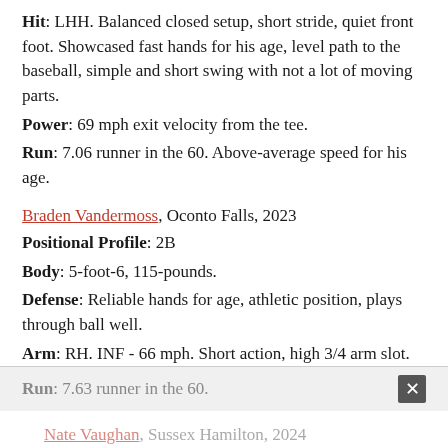Hit: LHH. Balanced closed setup, short stride, quiet front foot. Showcased fast hands for his age, level path to the baseball, simple and short swing with not a lot of moving parts.
Power: 69 mph exit velocity from the tee.
Run: 7.06 runner in the 60. Above-average speed for his age.
Braden Vandermoss, Oconto Falls, 2023
Positional Profile: 2B
Body: 5-foot-6, 115-pounds.
Defense: Reliable hands for age, athletic position, plays through ball well.
Arm: RH. INF - 66 mph. Short action, high 3/4 arm slot.
Hit: RHH. Balanced setup, small leg kick, short stride. Level bat path, pull approach.
Power: 75 mph exit velocity from the tee.
Run: 7.63 runner in the 60.
Nate Vaughan, Sussex Hamilton, 2024